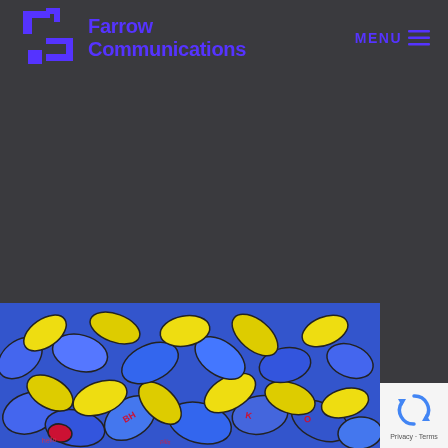Farrow Communications
[Figure (illustration): Farrow Communications logo: two overlapping angular arrow/chevron shapes in purple on dark background]
[Figure (illustration): MENU with hamburger icon (three horizontal lines) in purple]
[Figure (illustration): Colorful illustration of a pile of blue and yellow pill/tablet shapes with a red pill and small red text markings, on a blue background]
[Figure (logo): Google reCAPTCHA badge with rotating arrows icon, Privacy and Terms text]